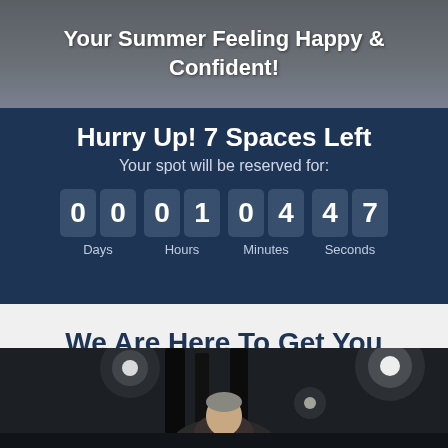Your Summer Feeling Happy & Confident!
Hurry Up! 7 Spaces Left
Your spot will be reserved for:
[Figure (infographic): Countdown timer showing 00 days, 01 hours, 04 minutes, 47 seconds with dark box digits on navy background]
We Are Here To Get You Feeling & Looking Great In Time For Summer!
[Figure (photo): Person in a gym performing an exercise, dark gym interior with ceiling lights visible, person seen from shoulders up holding gym equipment]